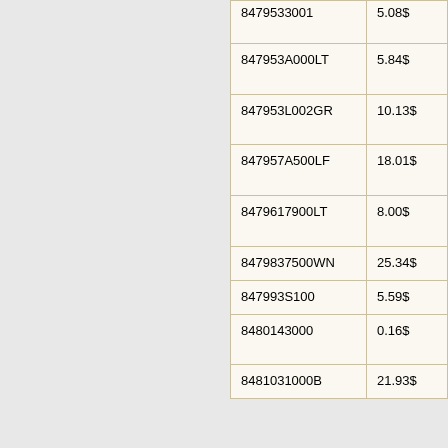| Part Number | Price | Description |
| --- | --- | --- |
| 8479533001 | 5.08$ | LWR MAIN |
| 847953A000LT | 5.84$ | COVE C/PAD RH |
| 847953L002GR | 10.13$ | GARN C/PAD |
| 847957A500LF | 18.01$ | PANE LWR C RH |
| 8479617900LT | 8.00$ | HOLD DRIN |
| 8479837500WN | 25.34$ | PLAT |
| 847993S100 | 5.59$ | PAD-A |
| 8480143000 | 0.16$ | SCRE TAPP |
| 8481031000B | 21.93$ | HOUS |